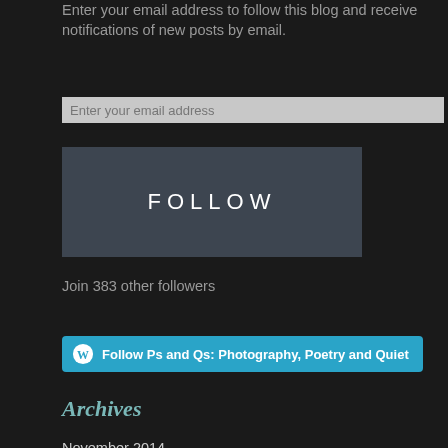Enter your email address to follow this blog and receive notifications of new posts by email.
Enter your email address
[Figure (other): FOLLOW button — dark blue-grey rectangular button with white uppercase text 'FOLLOW' in wide letter-spacing]
Join 383 other followers
[Figure (other): WordPress follow button — cyan/teal rounded button with WordPress logo icon and text 'Follow Ps and Qs: Photography, Poetry and Quiet']
Archives
November 2014
October 2014
August 2014
July 2014
June 2014
May 2014